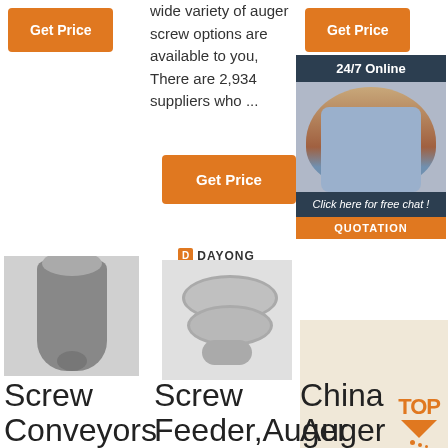[Figure (other): Orange 'Get Price' button, top left]
wide variety of auger screw options are available to you, There are 2,934 suppliers who ...
[Figure (other): Orange 'Get Price' button, top right]
[Figure (other): 24/7 Online chat widget with woman wearing headset and 'Click here for free chat!' text and QUOTATION button]
[Figure (other): Orange 'Get Price' button, middle]
[Figure (photo): Photo of a screw conveyor machine]
[Figure (logo): Dayong brand logo]
[Figure (photo): Photo of a screw feeder / vibrating screen machine]
[Figure (other): TOP arrow icon with orange dots]
Screw Conveyors
Screw Feeder, Auger
China Auger